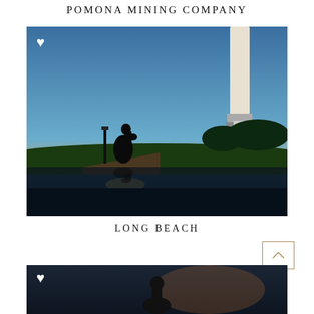POMONA MINING COMPANY
[Figure (photo): Wedding couple silhouetted at sunset near a lighthouse, with reflection in water below]
LONG BEACH
[Figure (photo): Partially visible wedding photo at bottom of page with dark background]